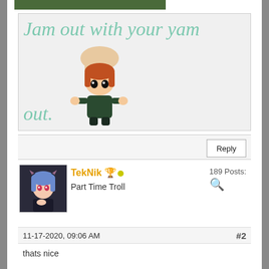[Figure (photo): Top portion of a photo partially visible at top of screen]
[Figure (photo): Forum post image: light green/teal italic text 'Jam out with your yam out.' with a chibi anime figurine being held by a hand]
Reply
TekNik 🏆 • Part Time Troll
189 Posts:
11-17-2020, 09:06 AM
#2
thats nice